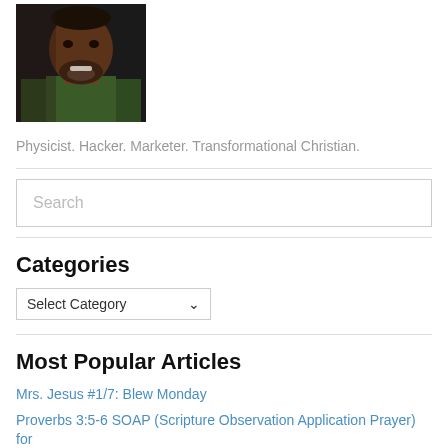[Figure (photo): Portrait photo of a smiling man with a beard wearing a green plaid shirt, cropped to show face and upper body]
Physicist. Hacker. Marketer. Transformational Christian.
Search
Categories
Select Category
Most Popular Articles
Mrs. Jesus #1/7: Blew Monday
Proverbs 3:5-6 SOAP (Scripture Observation Application Prayer) for